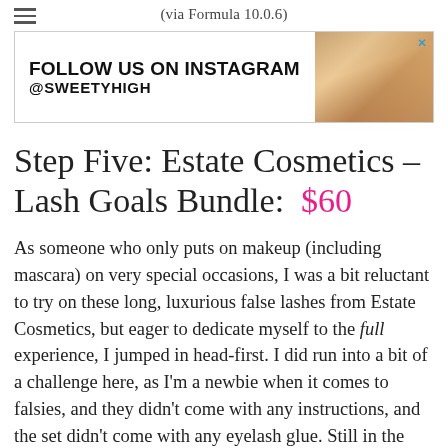(via Formula 10.0.6)
[Figure (screenshot): Advertisement banner: FOLLOW US ON INSTAGRAM @SWEETYHIGH with a photo of a woman on the right side]
Step Five: Estate Cosmetics – Lash Goals Bundle: $60
As someone who only puts on makeup (including mascara) on very special occasions, I was a bit reluctant to try on these long, luxurious false lashes from Estate Cosmetics, but eager to dedicate myself to the full experience, I jumped in head-first. I did run into a bit of a challenge here, as I'm a newbie when it comes to falsies, and they didn't come with any instructions, and the set didn't come with any eyelash glue. Still in the